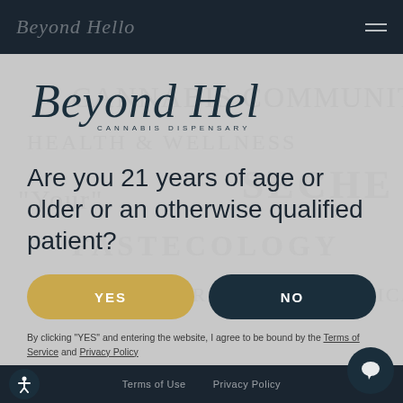Beyond Hello — Cannabis Dispensary (navbar logo)
[Figure (logo): Beyond Hello Cannabis Dispensary cursive script logo in dark teal/navy color]
Are you 21 years of age or older or an otherwise qualified patient?
YES
NO
By clicking "YES" and entering the website, I agree to be bound by the Terms of Service and Privacy Policy
Terms of Use   Privacy Policy